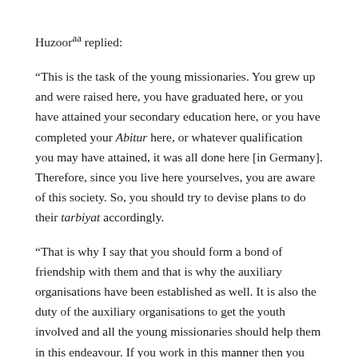Huzoor^aa replied:
“This is the task of the young missionaries. You grew up and were raised here, you have graduated here, or you have attained your secondary education here, or you have completed your Abitur here, or whatever qualification you may have attained, it was all done here [in Germany]. Therefore, since you live here yourselves, you are aware of this society. So, you should try to devise plans to do their tarbiyat accordingly.
“That is why I say that you should form a bond of friendship with them and that is why the auxiliary organisations have been established as well. It is also the duty of the auxiliary organisations to get the youth involved and all the young missionaries should help them in this endeavour. If you work in this manner then you will be able to come to the point...